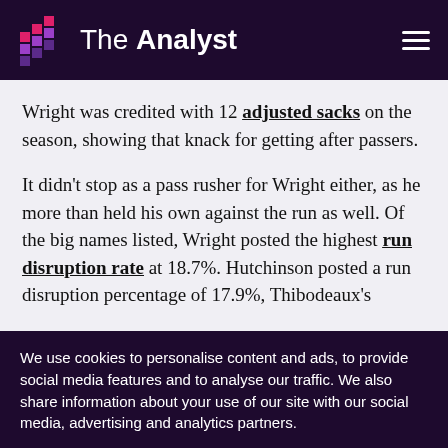The Analyst
Wright was credited with 12 adjusted sacks on the season, showing that knack for getting after passers.
It didn’t stop as a pass rusher for Wright either, as he more than held his own against the run as well. Of the big names listed, Wright posted the highest run disruption rate at 18.7%. Hutchinson posted a run disruption percentage of 17.9%, Thibodeaux’s 11.4%, and Wallace’s was 13.9%.
We use cookies to personalise content and ads, to provide social media features and to analyse our traffic. We also share information about your use of our site with our social media, advertising and analytics partners.